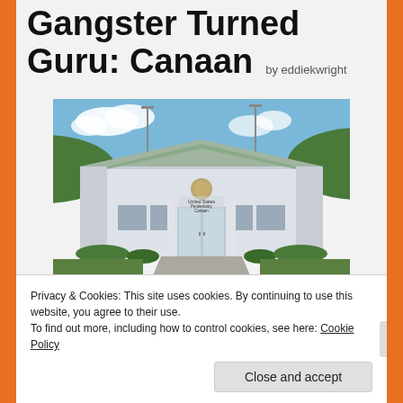Gangster Turned Guru: Canaan by eddiekwright
[Figure (photo): Exterior photo of United States Penitentiary Canaan — a large white/grey metal building with a green roof, surrounded by landscaping, under a blue sky with green hills in the background.]
“When I finished studying a book, I would normally pass it along to Paradise, who never held
Privacy & Cookies: This site uses cookies. By continuing to use this website, you agree to their use.
To find out more, including how to control cookies, see here: Cookie Policy
Close and accept